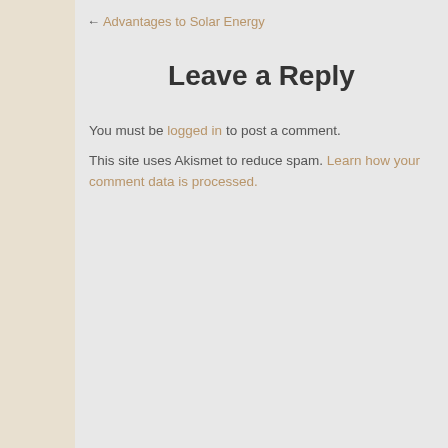← Advantages to Solar Energy
Leave a Reply
You must be logged in to post a comment.
This site uses Akismet to reduce spam. Learn how your comment data is processed.